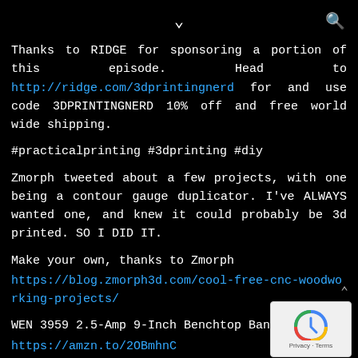▾  🔍
Thanks to RIDGE for sponsoring a portion of this episode. Head to http://ridge.com/3dprintingnerd for and use code 3DPRINTINGNERD 10% off and free world wide shipping.
#practicalprinting #3dprinting #diy
Zmorph tweeted about a few projects, with one being a contour gauge duplicator. I've ALWAYS wanted one, and knew it could probably be 3d printed. SO I DID IT.
Make your own, thanks to Zmorph
https://blog.zmorph3d.com/cool-free-cnc-woodworking-projects/
WEN 3959 2.5-Amp 9-Inch Benchtop Band Saw
https://amzn.to/2OBmhnC